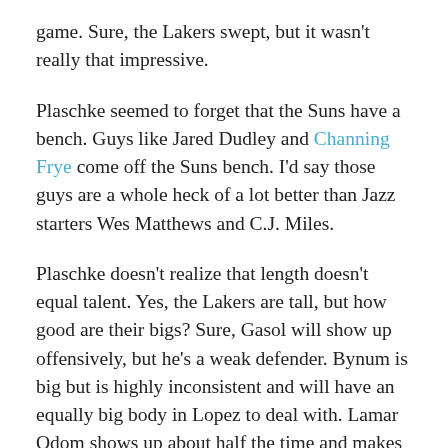game. Sure, the Lakers swept, but it wasn't really that impressive.
Plaschke seemed to forget that the Suns have a bench. Guys like Jared Dudley and Channing Frye come off the Suns bench. I'd say those guys are a whole heck of a lot better than Jazz starters Wes Matthews and C.J. Miles.
Plaschke doesn't realize that length doesn't equal talent. Yes, the Lakers are tall, but how good are their bigs? Sure, Gasol will show up offensively, but he's a weak defender. Bynum is big but is highly inconsistent and will have an equally big body in Lopez to deal with. Lamar Odom shows up about half the time and makes dumb plays on a regular basis. The